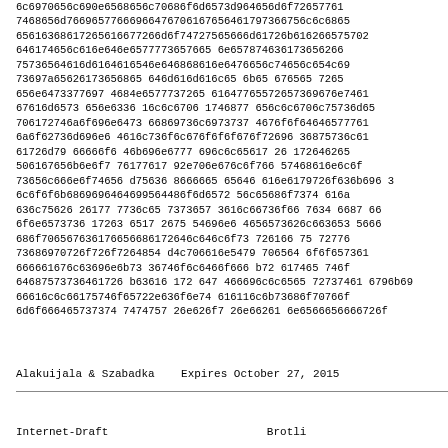6c6970656c690e6568656c70686f6d6573d964656d6f72657761
7468656d76696577666966476706167656461797366756c6c6865
65616368617265616677266d6f74727565666d61726b616266575702
646174656c616e646e6577773657665 6e657874636173656266
75736564616d6164616546e646868616e6476656c74656c654c69
73697a65626173656865 646d616d616c65 6b65 676565 7265
656e6473377697 4684e6577737265 61647765572657369676e7461
67616d6573 656e6336 16c6c6706 1746877 656c6c6706c75736d65
706172746a6f696e6473 66869736c6973737 4676f6f64646577761
6a6f62736d696e6 4616c736f6c676f6f6f676f72696 36875736c61
61726d79 66666f6 46b696e6777 696c6c65617 26 172646265
506167656b6e6f7 76177617 92e706e676c6f766 57468616e6c6f
73656c666e6f74656 d75636 8666665 65646 616e6179726f636b696 3
6c6f6f6b6869696464699564486f6d6572 56c65686f7374 616a
636c75626 26177 7736c65 7373657 3616c66736f66 7634 6687 66
6f6e6573736 17263 6517 2675 54696e6 4656573626c663653 5666
686f706567636176656686172646c646c6f73 726166 75 72776
73686970726f726f7264854 d4c706616e5479 706564 6f6f657361
666661676c63696e6b73 36746f6c6466f666 b72 617465 746f
64687573736461726 b63616 172 647 466696c6c6565 72737461 6796b69
66616c6c66175746f65722e636f6e74 616116c6b73686f70766f
6d6f666465737374 7474757 26e626f7 26e66261 6e6566656666726f
Alakuijala & Szabadka    Expires October 27, 2015
Internet-Draft                        Brotli